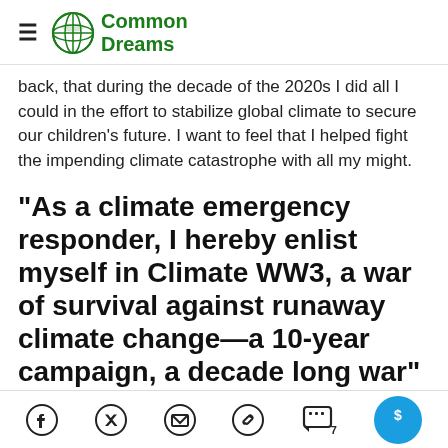Common Dreams
back, that during the decade of the 2020s I did all I could in the effort to stabilize global climate to secure our children's future. I want to feel that I helped fight the impending climate catastrophe with all my might.
"As a climate emergency responder, I hereby enlist myself in Climate WW3, a war of survival against runaway climate change—a 10-year campaign, a decade long war"